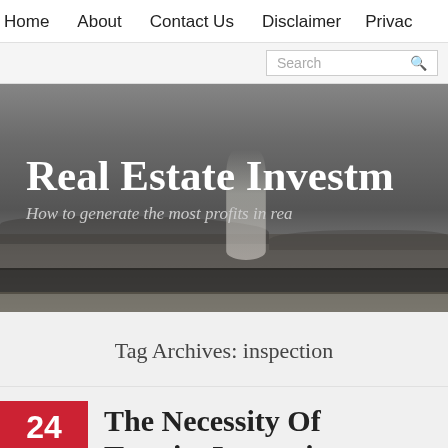Home  About  Contact Us  Disclaimer  Privacy
[Figure (photo): Black and white hero image of a geyser erupting in a landscape with a crowd of people, overlaid with website title 'Real Estate Investm...' and subtitle 'How to generate the most profits in rea...']
Real Estate Investm
How to generate the most profits in rea
Tag Archives: inspection
24 JAN / 2020 The Necessity Of Termite Inspection And When It Should